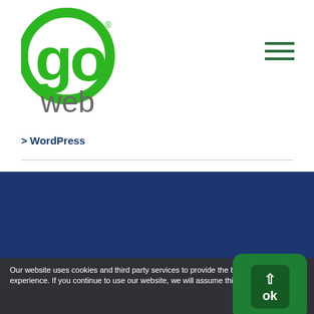[Figure (logo): Go Web logo - green circle with 'go' text and 'web' text below, with registered trademark symbol]
[Figure (other): Hamburger menu icon - three horizontal green lines]
> WordPress
ABOUT GO WEB
I am a Web Designer &
Contact Us
📞 01226 741110
Latest News
> Charity Work – Sheffield
Our website uses cookies and third party services to provide the best user experience. If you continue to use our website, we will assume this is ok with you.